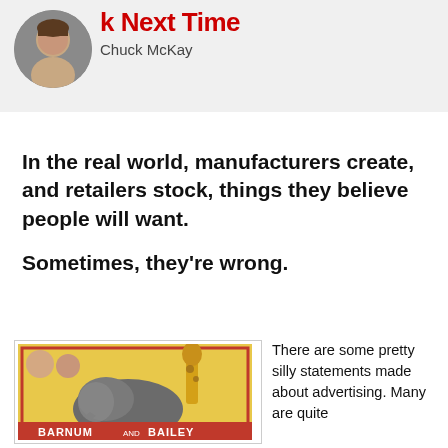k Next Time — Chuck McKay
In the real world, manufacturers create, and retailers stock, things they believe people will want.
Sometimes, they're wrong.
[Figure (illustration): Vintage circus poster featuring an elephant, giraffe, and other animals with performers, with partial text 'BARNUM' and 'BAILEY' visible at the bottom.]
There are some pretty silly statements made about advertising. Many are quite